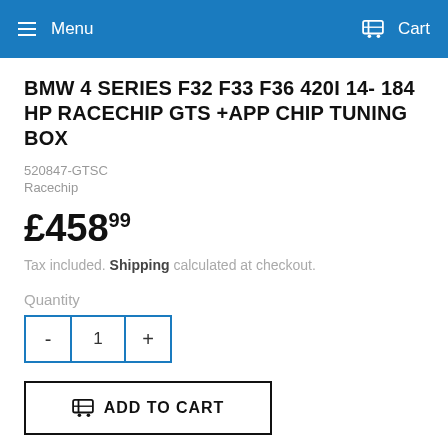Menu  Cart
BMW 4 SERIES F32 F33 F36 420I 14- 184 HP RACECHIP GTS +APP CHIP TUNING BOX
520847-GTSC
Racechip
£458.99
Tax included. Shipping calculated at checkout.
Quantity
- 1 +
ADD TO CART